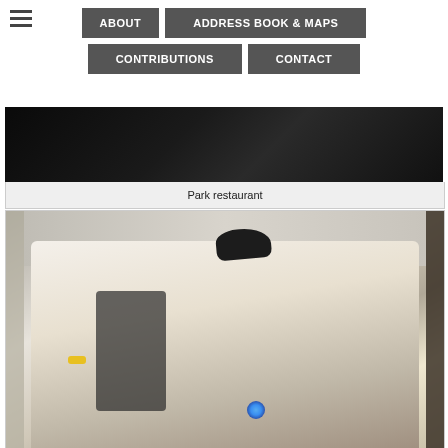ABOUT | ADDRESS BOOK & MAPS | CONTRIBUTIONS | CONTACT
[Figure (photo): Dark interior photo of Park restaurant]
Park restaurant
[Figure (photo): Chef in black cap and apron using a culinary torch in a restaurant kitchen]